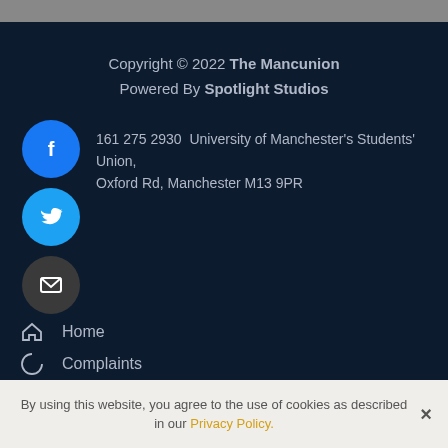Copyright © 2022 The Mancunion
Powered By Spotlight Studios
161 275 2930  University of Manchester's Students' Union, Oxford Rd, Manchester M13 9PR
Home
Complaints
Cookie Policy
Get Involved
By using this website, you agree to the use of cookies as described in our Privacy Policy.